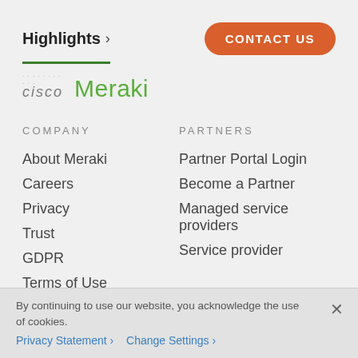Highlights >
CONTACT US
[Figure (logo): Cisco Meraki logo: Cisco text in gray italic with dotted pattern above, and Meraki in green]
COMPANY
PARTNERS
About Meraki
Partner Portal Login
Careers
Become a Partner
Privacy
Managed service providers
Trust
Service provider
GDPR
Terms of Use
By continuing to use our website, you acknowledge the use of cookies.
Privacy Statement >   Change Settings >